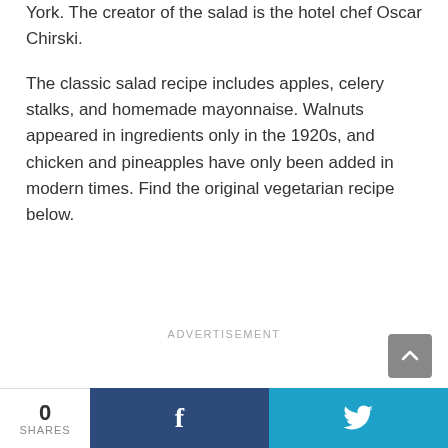York. The creator of the salad is the hotel chef Oscar Chirski.
The classic salad recipe includes apples, celery stalks, and homemade mayonnaise. Walnuts appeared in ingredients only in the 1920s, and chicken and pineapples have only been added in modern times. Find the original vegetarian recipe below.
ADVERTISEMENT
0 SHARES  [Facebook share]  [Twitter share]